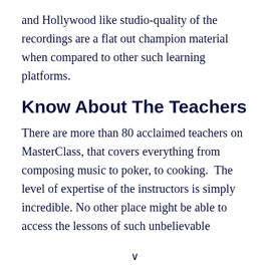and Hollywood like studio-quality of the recordings are a flat out champion material when compared to other such learning platforms.
Know About The Teachers
There are more than 80 acclaimed teachers on MasterClass, that covers everything from composing music to poker, to cooking.  The level of expertise of the instructors is simply incredible. No other place might be able to access the lessons of such unbelievable